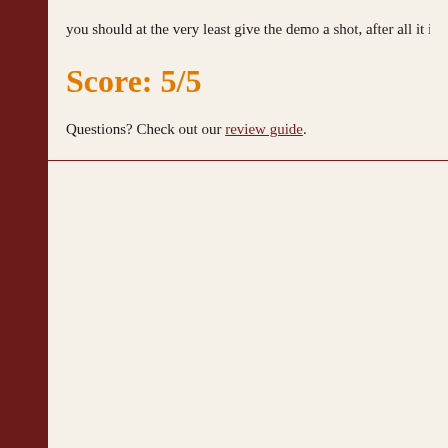you should at the very least give the demo a shot, after all it i
Score: 5/5
Questions? Check out our review guide.